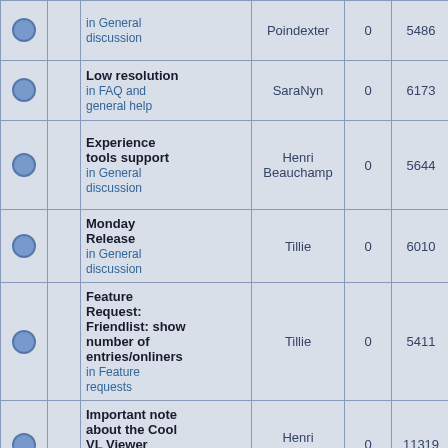|  |  | Topic | Author | Replies | Views | Last Post |
| --- | --- | --- | --- | --- | --- | --- |
|  |  | in General discussion | Poindexter | 0 | 5486 | Samantha Poindexter + |
|  |  | Low resolution
in FAQ and general help | SaraNyn | 0 | 6173 | 2015-06-10 15:41:36 SaraNyn + |
|  |  | Experience tools support
in General discussion | Henri Beauchamp | 0 | 5644 | 2014-08-02 09:31:47 Henri Beauchamp + |
|  |  | Monday Release
in General discussion | Tillie | 0 | 6010 | 2013-09-18 15:44:00 Tillie + |
|  |  | Feature Request: Friendlist: show number of entries/onliners
in Feature requests | Tillie | 0 | 5411 | 2013-09-01 19:44:19 Tillie + |
|  |  | Important note about the Cool VL Viewer support: PLEASE READ | Henri Beauchamp | 0 | 11319 | 2013-08-03 09:34:41 Henri Beauchamp |